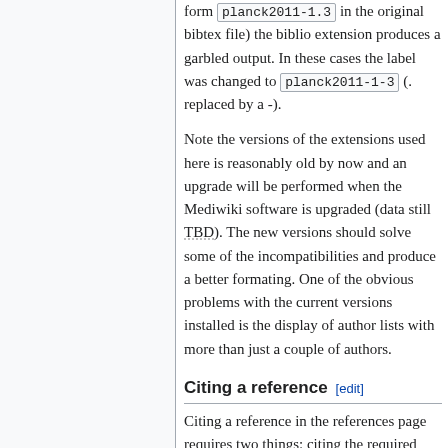form planck2011-1.3 in the original bibtex file) the biblio extension produces a garbled output. In these cases the label was changed to planck2011-1-3 (. replaced by a -).
Note the versions of the extensions used here is reasonably old by now and an upgrade will be performed when the Mediwiki software is upgraded (data still TBD). The new versions should solve some of the incompatibilities and produce a better formating. One of the obvious problems with the current versions installed is the display of author lists with more than just a couple of authors.
Citing a reference [edit]
Citing a reference in the references page requires two things: citing the required